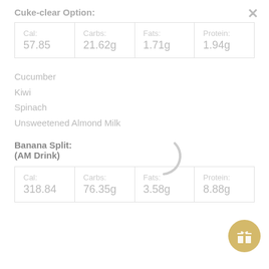Cuke-clear Option:
| Cal: | Carbs: | Fats: | Protein: |
| --- | --- | --- | --- |
| 57.85 | 21.62g | 1.71g | 1.94g |
Cucumber
Kiwi
Spinach
Unsweetened Almond Milk
Banana Split:
(AM Drink)
| Cal: | Carbs: | Fats: | Protein: |
| --- | --- | --- | --- |
| 318.84 | 76.35g | 3.58g | 8.88g |